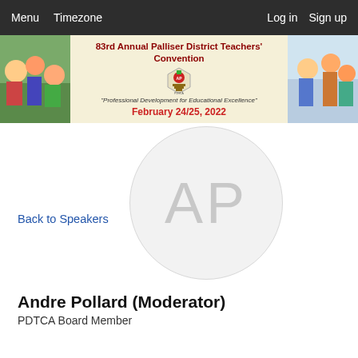Menu  Timezone  Log in  Sign up
[Figure (illustration): Banner for 83rd Annual Palliser District Teachers' Convention with left photo of children outdoors, center logo and text, right photo of students in classroom. Title: 83rd Annual Palliser District Teachers' Convention. Subtitle: Professional Development for Educational Excellence. Date: February 24/25, 2022]
Back to Speakers
[Figure (illustration): Circular avatar placeholder with initials AP in light gray]
Andre Pollard (Moderator)
PDTCA Board Member